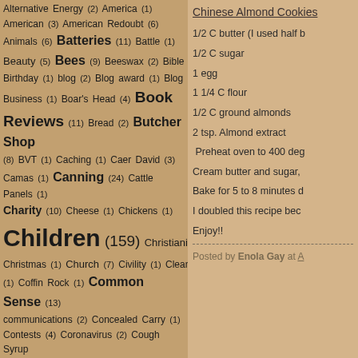Alternative Energy (2) America (1) American (3) American Redoubt (6) Animals (6) Batteries (11) Battle (1) Beauty (5) Bees (9) Beeswax (2) Bible (1) Birthday (1) blog (2) Blog award (1) Blog Business (1) Boar's Head (4) Book Reviews (11) Bread (2) Butcher Shop (8) BVT (1) Caching (1) Caer David (3) Camas (1) Canning (24) Cattle Panels (1) Charity (10) Cheese (1) Chickens (1) Children (159) Christianity (2) Christmas (1) Church (7) Civility (1) Cleaning (1) Coffin Rock (1) Common Sense (13) communications (2) Concealed Carry (1) Contests (4) Coronavirus (2) Cough Syrup (1) Country Living (158) Covid-19 (1) Current events (5) Disasters (1) Economics (4) Education (2) Emergency Birth Kit (1) Encouragement (2) Equipment Review (13) Essential preparedness tools of the trade (9) Events (3) Faith (149) Fall (2) Family (114) Family Business (4) Farm Life (2)
Chinese Almond Cookies
1/2 C butter (I used half b...
1/2 C sugar
1 egg
1 1/4 C flour
1/2 C ground almonds
2 tsp. Almond extract
Preheat oven to 400 deg...
Cream butter and sugar,...
Bake for 5 to 8 minutes o...
I doubled this recipe bec...
Enjoy!!
Posted by Enola Gay at A...